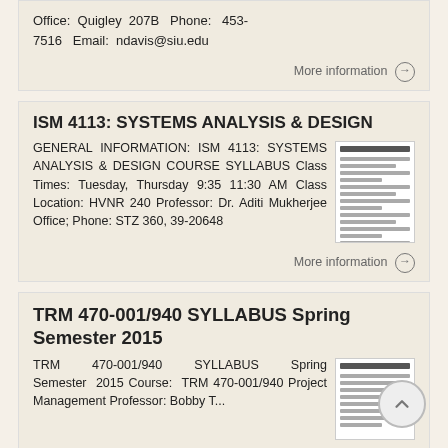Office: Quigley 207B  Phone: 453-7516  Email: ndavis@siu.edu
More information →
ISM 4113: SYSTEMS ANALYSIS & DESIGN
GENERAL INFORMATION: ISM 4113: SYSTEMS ANALYSIS & DESIGN COURSE SYLLABUS Class Times: Tuesday, Thursday 9:35 11:30 AM Class Location: HVNR 240 Professor: Dr. Aditi Mukherjee Office; Phone: STZ 360, 39-20648
[Figure (screenshot): Thumbnail image of course syllabus document]
More information →
TRM 470-001/940 SYLLABUS Spring Semester 2015
TRM 470-001/940 SYLLABUS Spring Semester 2015 Course: TRM 470-001/940 Project Management Professor: Bobby T...
[Figure (screenshot): Thumbnail image of TRM syllabus document]